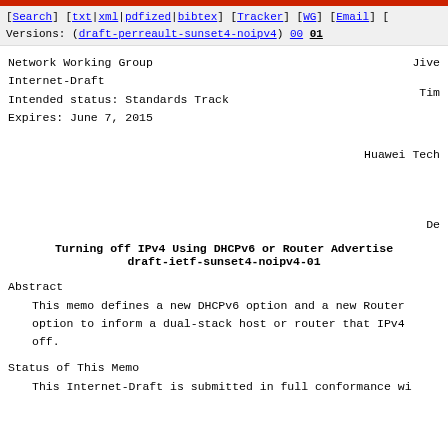[Search] [txt|xml|pdfized|bibtex] [Tracker] [WG] [Email] [
Versions: (draft-perreault-sunset4-noipv4) 00 01
Network Working Group
Internet-Draft                                          Jive
Intended status: Standards Track
Expires: June 7, 2015                                   Tim

                                               Huawei Tech





                                               De
Turning off IPv4 Using DHCPv6 or Router Advertise
          draft-ietf-sunset4-noipv4-01
Abstract
This memo defines a new DHCPv6 option and a new Router
option to inform a dual-stack host or router that IPv4
off.
Status of This Memo
This Internet-Draft is submitted in full conformance wi